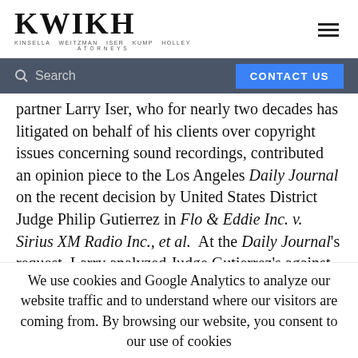KWIKH — KINSELLA WEITZMAN ISER KUMP HOLLEY — ATTORNEYS
partner Larry Iser, who for nearly two decades has litigated on behalf of his clients over copyright issues concerning sound recordings, contributed an opinion piece to the Los Angeles Daily Journal on the recent decision by United States District Judge Philip Gutierrez in Flo & Eddie Inc. v. Sirius XM Radio Inc., et al. At the Daily Journal's request, Larry analyzed Judge Gutierrez's against-the-grain holding that interprets California's copyright statute to grant the owners of pre-1972 sound recordings (which are not covered by the federal copyright
We use cookies and Google Analytics to analyze our website traffic and to understand where our visitors are coming from. By browsing our website, you consent to our use of cookies